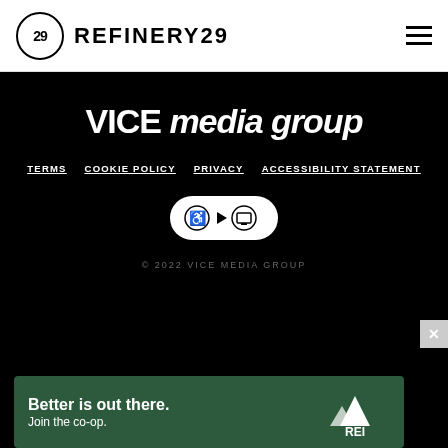REFINERY29
[Figure (logo): VICE media group logo in white on black background]
TERMS   COOKIE POLICY   PRIVACY   ACCESSIBILITY STATEMENT
[Figure (logo): Accessibility icons badge: wheelchair, play button, and screen symbols in white circles]
© 2022 VICE MEDIA GROUP
[Figure (logo): REI co-op advertisement: Better is out there. Join the co-op.]